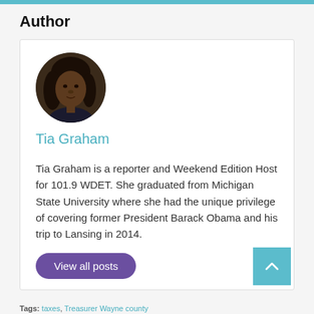Author
[Figure (photo): Circular portrait photo of Tia Graham, a woman with dark hair and dark jacket.]
Tia Graham
Tia Graham is a reporter and Weekend Edition Host for 101.9 WDET. She graduated from Michigan State University where she had the unique privilege of covering former President Barack Obama and his trip to Lansing in 2014.
View all posts
Tags: